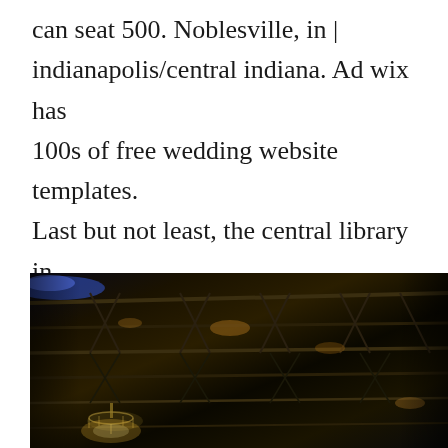can seat 500. Noblesville, in | indianapolis/central indiana. Ad wix has 100s of free wedding website templates. Last but not least, the central library in downtown indianapolis is definitely one of the best wedding venues in the city. Your memories and photos of this day will last a lifetime.
[Figure (photo): Interior photo of a venue ceiling showing dark industrial steel trusses and beams with warm lighting including a chandelier visible in the lower left, creating a dramatic ambiance.]